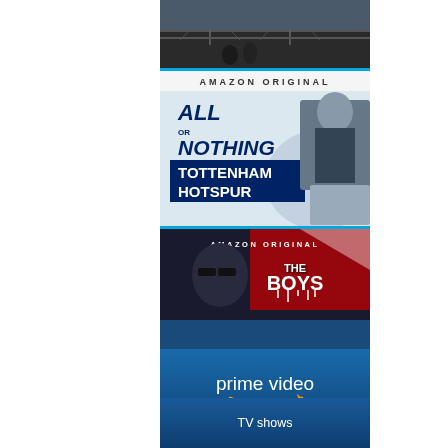[Figure (advertisement): Amazon Prime Video advertisement banner. Top section shows a dark moody image of city scene (bridge, figures). Below that 'AMAZON ORIGINAL' text then 'ALL OR NOTHING TOTTENHAM HOTSPUR' show logo with soccer imagery. Then another 'AMAZON ORIGINAL' dark banner with 'THE BOYS' show imagery (man in sunglasses, red/white graphic). Bottom section is a blue gradient with 'prime video' logo and text 'Unlimited streaming of movies and TV shows'.]